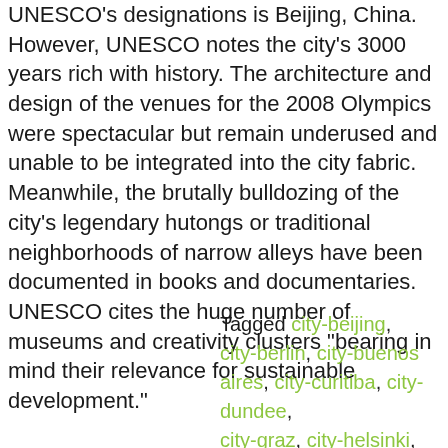UNESCO's designations is Beijing, China. However, UNESCO notes the city's 3000 years rich with history. The architecture and design of the venues for the 2008 Olympics were spectacular but remain underused and unable to be integrated into the city fabric. Meanwhile, the brutally bulldozing of the city's legendary hutongs or traditional neighborhoods of narrow alleys have been documented in books and documentaries. UNESCO cites the huge number of museums and creativity clusters “bearing in mind their relevance for sustainable development.”
Tagged city-beijing, city-berlin, city-buenos aires, city-curitiba, city-dundee, city-graz, city-helsinki, city-kobe,